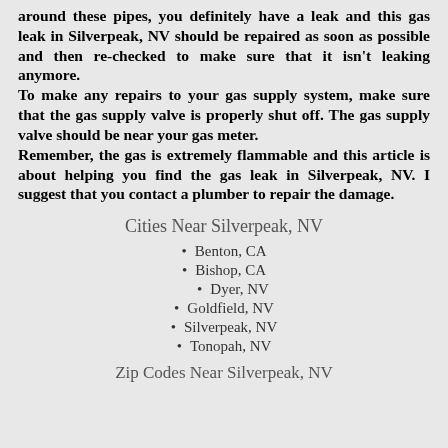around these pipes, you definitely have a leak and this gas leak in Silverpeak, NV should be repaired as soon as possible and then re-checked to make sure that it isn't leaking anymore. To make any repairs to your gas supply system, make sure that the gas supply valve is properly shut off. The gas supply valve should be near your gas meter. Remember, the gas is extremely flammable and this article is about helping you find the gas leak in Silverpeak, NV. I suggest that you contact a plumber to repair the damage.
Cities Near Silverpeak, NV
Benton, CA
Bishop, CA
Dyer, NV
Goldfield, NV
Silverpeak, NV
Tonopah, NV
Zip Codes Near Silverpeak, NV